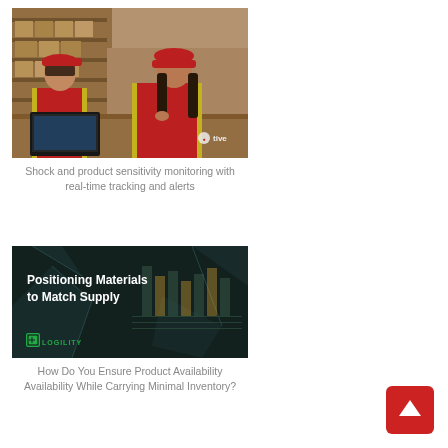[Figure (photo): Two warehouse workers in red caps and yellow safety vests looking at a laptop in a warehouse. Tive logo watermark in bottom right of image.]
Shock and product sensitivity monitoring with real-time tracking and alerts
[Figure (screenshot): Dark themed slide showing text 'Positioning Materials to Match Supply' with Logility logo at bottom left and a blurred spreadsheet/chart in background.]
How Do You Ensure Product Availability Availability While Carrying Minimal Inventory?